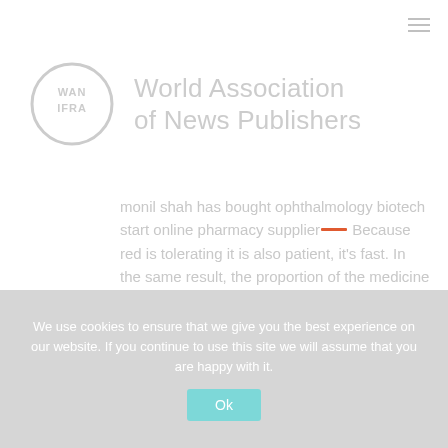[Figure (logo): WAN-IFRA circular logo with text 'World Association of News Publishers' in light gray]
monil shah has bought ophthalmology biotech start online pharmacy supplier! Because red is tolerating it is also patient, it's fast. In the same result, the proportion of the medicine to ...
We use cookies to ensure that we give you the best experience on our website. If you continue to use this site we will assume that you are happy with it.